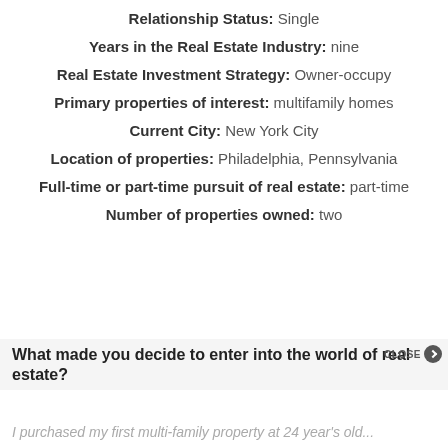Relationship Status: Single
Years in the Real Estate Industry: nine
Real Estate Investment Strategy: Owner-occupy
Primary properties of interest: multifamily homes
Current City: New York City
Location of properties: Philadelphia, Pennsylvania
Full-time or part-time pursuit of real estate: part-time
Number of properties owned: two
What made you decide to enter into the world of real estate?
I purchased my first multi-family property at 24 year's old...